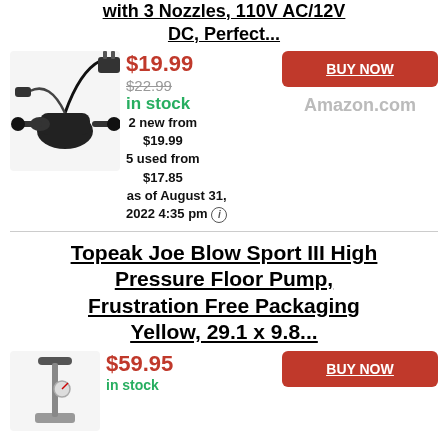with 3 Nozzles, 110V AC/12V DC, Perfect...
[Figure (photo): Electric air pump with multiple nozzles and power adapter]
$19.99
$22.99 (strikethrough)
in stock
2 new from $19.99
5 used from $17.85
as of August 31, 2022 4:35 pm
BUY NOW
Amazon.com
Topeak Joe Blow Sport III High Pressure Floor Pump, Frustration Free Packaging Yellow, 29.1 x 9.8...
[Figure (photo): Topeak floor pump product image]
$59.95
in stock
BUY NOW